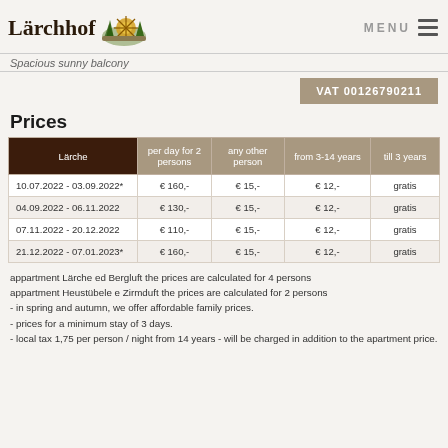Lärchhof — MENU
Spacious sunny balcony
VAT 00126790211
Prices
| Lärche | per day for 2 persons | any other person | from 3-14 years | till 3 years |
| --- | --- | --- | --- | --- |
| 10.07.2022 - 03.09.2022* | € 160,- | € 15,- | € 12,- | gratis |
| 04.09.2022 - 06.11.2022 | € 130,- | € 15,- | € 12,- | gratis |
| 07.11.2022 - 20.12.2022 | € 110,- | € 15,- | € 12,- | gratis |
| 21.12.2022 - 07.01.2023* | € 160,- | € 15,- | € 12,- | gratis |
appartment Lärche ed Bergluft the prices are calculated for 4 persons
appartment Heustübele e Zirmduft the prices are calculated for 2 persons
- in spring and autumn, we offer affordable family prices.
- prices for a minimum stay of 3 days.
- local tax 1,75 per person / night from 14 years - will be charged in addition to the apartment price.